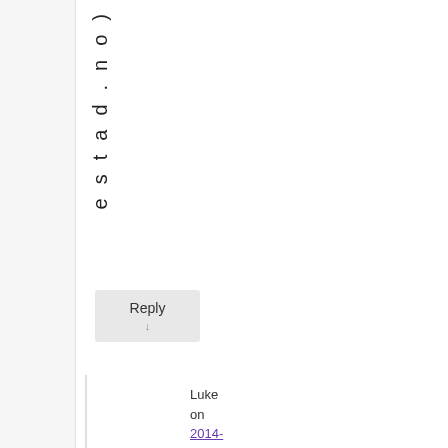estad.no)
Reply
Luke on 2014-12-13 at 14:25 said: